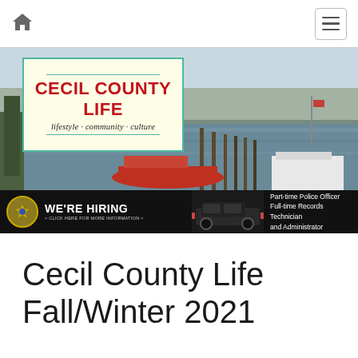Navigation bar with home icon and hamburger menu
[Figure (logo): Cecil County Life magazine logo on cream background with teal border. Red bold text 'CECIL COUNTY LIFE', italic subtitle 'lifestyle · community · culture'. Background shows waterfront with boats.]
[Figure (infographic): Black hiring banner: police badge icon, 'WE'RE HIRING > CLICK HERE FOR MORE INFORMATION <', police car photo, text listing 'Part-time Police Officer, Full-time Records Technician and Administrator']
Cecil County Life Fall/Winter 2021